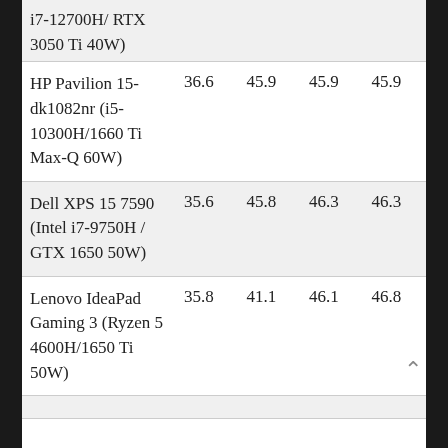| Device | Col1 | Col2 | Col3 | Col4 |
| --- | --- | --- | --- | --- |
| i7-12700H/ RTX 3050 Ti 40W) |  |  |  |  |
| HP Pavilion 15-dk1082nr (i5-10300H/1660 Ti Max-Q 60W) | 36.6 | 45.9 | 45.9 | 45.9 |
| Dell XPS 15 7590 (Intel i7-9750H / GTX 1650 50W) | 35.6 | 45.8 | 46.3 | 46.3 |
| Lenovo IdeaPad Gaming 3 (Ryzen 5 4600H/1650 Ti 50W) | 35.8 | 41.1 | 46.1 | 46.8 |